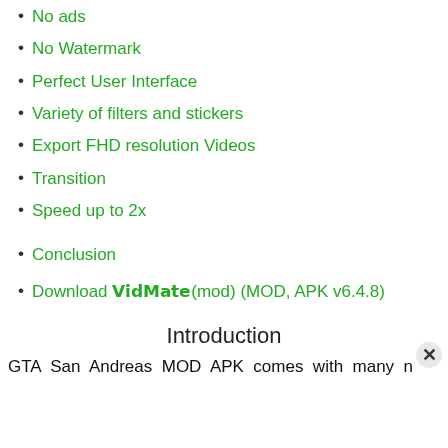No ads
No Watermark
Perfect User Interface
Variety of filters and stickers
Export FHD resolution Videos
Transition
Speed up to 2x
Conclusion
Download 𝗩𝗶𝗱𝗠𝗮𝘁𝗲(mod) (MOD, APK v6.4.8)
Introduction
GTA San Andreas MOD APK comes with many n